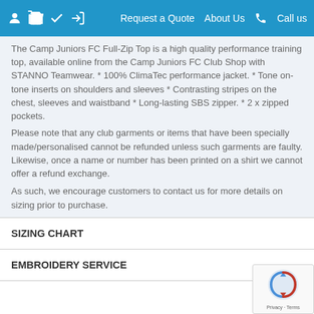Request a Quote  About Us  Call us
The Camp Juniors FC Full-Zip Top is a high quality performance training top, available online from the Camp Juniors FC Club Shop with STANNO Teamwear. * 100% ClimaTec performance jacket. * Tone on-tone inserts on shoulders and sleeves * Contrasting stripes on the chest, sleeves and waistband * Long-lasting SBS zipper. * 2 x zipped pockets.
Please note that any club garments or items that have been specially made/personalised cannot be refunded unless such garments are faulty. Likewise, once a name or number has been printed on a shirt we cannot offer a refund exchange.
As such, we encourage customers to contact us for more details on sizing prior to purchase.
SIZING CHART
EMBROIDERY SERVICE